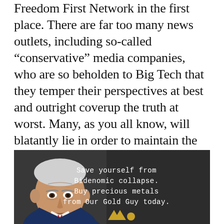Freedom First Network in the first place. There are far too many news outlets, including so-called “conservative” media companies, who are so beholden to Big Tech that they temper their perspectives at best and outright coverup the truth at worst. Many, as you all know, will blatantly lie in order to maintain the narrative that supports the radical agenda taking over much of the United States.
[Figure (photo): Advertisement banner showing an older man in a suit on the left side, with white text on dark background reading: Save yourself from Bidenomic collapse. Buy precious metals from Our Gold Guy today. Gold logo at bottom.]